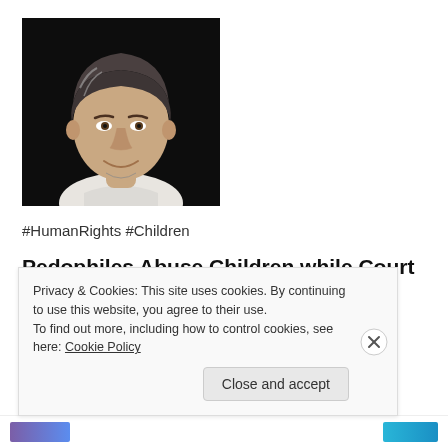[Figure (photo): Portrait photo of a middle-aged man with gray-streaked hair, wearing a white shirt, against a dark background]
#HumanRights #Children
Pedophiles Abuse Children while Court of Appeals Sleeps
Shay Cullen
Privacy & Cookies: This site uses cookies. By continuing to use this website, you agree to their use.
To find out more, including how to control cookies, see here: Cookie Policy
Close and accept